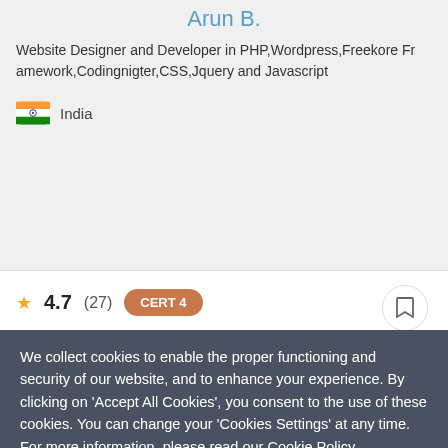Arun B.
Website Designer and Developer in PHP,Wordpress,Freekore Framework,Codingnigter,CSS,Jquery and Javascript
India
★ 4.7 (27) CERT 4
ajax
magento (cms)
html/html5
jquery
...
27 projects
$15/hr
We collect cookies to enable the proper functioning and security of our website, and to enhance your experience. By clicking on 'Accept All Cookies', you consent to the use of these cookies. You can change your 'Cookies Settings' at any time. For more information, please read our Cookie Policy
Cookie Settings
ACCEPT ALL COOKIES